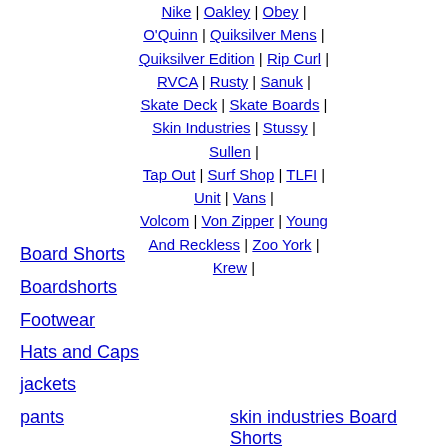Nike | Oakley | Obey | O'Quinn | Quiksilver Mens | Quiksilver Edition | Rip Curl | RVCA | Rusty | Sanuk | Skate Deck | Skate Boards | Skin Industries | Stussy | Sullen | Tap Out | Surf Shop | TLFI | Unit | Vans | Volcom | Von Zipper | Young And Reckless | Zoo York | Krew |
Board Shorts
Boardshorts
Footwear
Hats and Caps
jackets
pants
skin industries Board Shorts